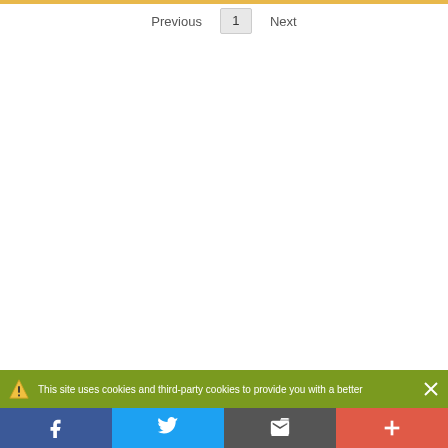Previous 1 Next
This site uses cookies and third-party cookies to provide you with a better
Facebook Twitter Email More